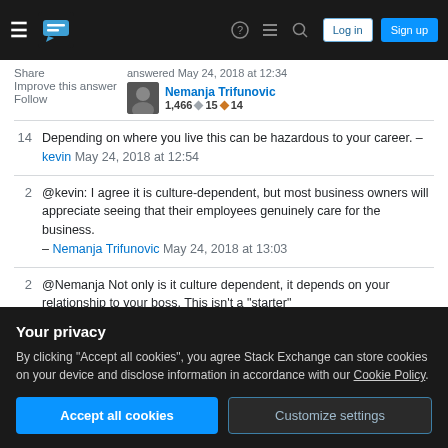Stack Exchange navigation bar with hamburger menu, logo, help, chat, search icons, Log in and Sign up buttons
Share
Improve this answer
Follow
answered May 24, 2018 at 12:34
Nemanja Trifunovic
1,466  15  14
14  Depending on where you live this can be hazardous to your career. – kevin May 24, 2018 at 12:54
2  @kevin: I agree it is culture-dependent, but most business owners will appreciate seeing that their employees genuinely care for the business. – Nemanja Trifunovic May 24, 2018 at 13:03
2  @Nemanja Not only is it culture dependent, it depends on your relationship to your boss. This isn't a "starter"
Your privacy
By clicking "Accept all cookies", you agree Stack Exchange can store cookies on your device and disclose information in accordance with our Cookie Policy.
Accept all cookies   Customize settings
stressed is the best and most effective way to share